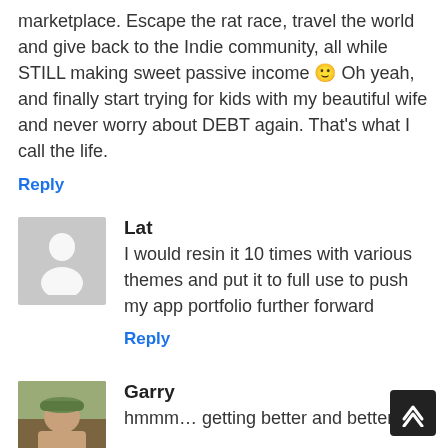marketplace. Escape the rat race, travel the world and give back to the Indie community, all while STILL making sweet passive income 🙂 Oh yeah, and finally start trying for kids with my beautiful wife and never worry about DEBT again. That's what I call the life.
Reply
Lat
I would resin it 10 times with various themes and put it to full use to push my app portfolio further forward
Reply
Garry
hmmm… getting better and better… I'